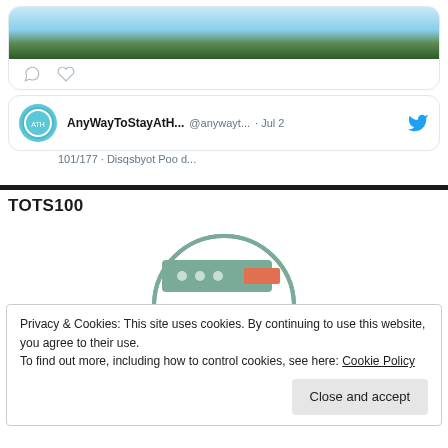[Figure (screenshot): Top of a tweet card showing a landscape photo with sky and trees]
[Figure (screenshot): Tweet action icons: comment bubble and heart]
[Figure (screenshot): Tweet author row: AnyWayToStayAtH... @anywayt... · Jul 2 with Twitter bird logo and circular avatar]
TOTS100
[Figure (illustration): Circular badge illustration with teal rectangle and orange accent bar representing TOTS100 badge]
Privacy & Cookies: This site uses cookies. By continuing to use this website, you agree to their use.
To find out more, including how to control cookies, see here: Cookie Policy
Close and accept